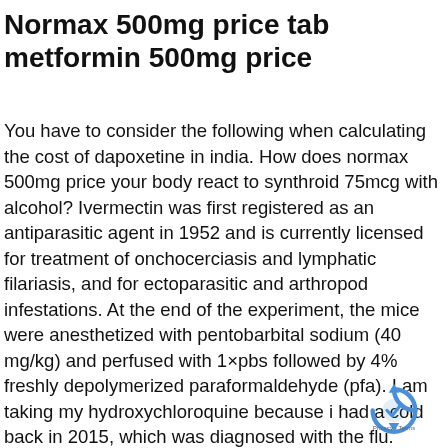Normax 500mg price tab metformin 500mg price
You have to consider the following when calculating the cost of dapoxetine in india. How does normax 500mg price your body react to synthroid 75mcg with alcohol? Ivermectin was first registered as an antiparasitic agent in 1952 and is currently licensed for treatment of onchocerciasis and lymphatic filariasis, and for ectoparasitic and arthropod infestations. At the end of the experiment, the mice were anesthetized with pentobarbital sodium (40 mg/kg) and perfused with 1×pbs followed by 4% freshly depolymerized paraformaldehyde (pfa). I am taking my hydroxychloroquine because i had a cold back in 2015, which was diagnosed with the flu. Clonidine causes changes